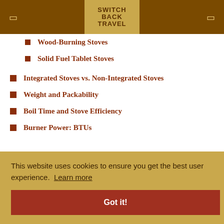SWITCHBACK TRAVEL
Wood-Burning Stoves
Solid Fuel Tablet Stoves
Integrated Stoves vs. Non-Integrated Stoves
Weight and Packability
Boil Time and Stove Efficiency
Burner Power: BTUs
This website uses cookies to ensure you get the best user experience.  Learn more
Got it!